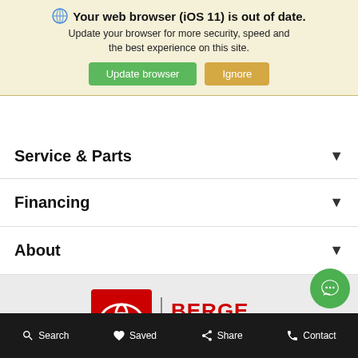Your web browser (iOS 11) is out of date. Update your browser for more security, speed and the best experience on this site.
Update browser | Ignore
Service & Parts
Financing
About
[Figure (logo): Berge Toyota logo — red square with Toyota circle emblem on the left, vertical bar separator, and BERGE TOYOTA text on the right in red and black]
Search   Saved   Share   Contact